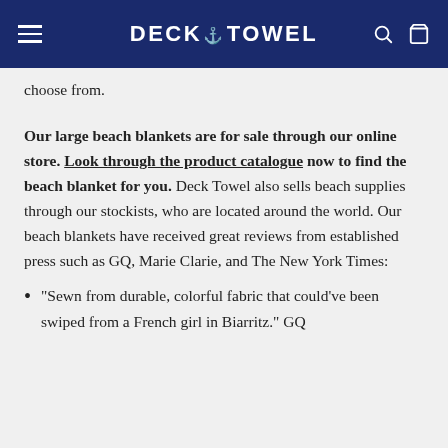DECK*TOWEL
choose from.
Our large beach blankets are for sale through our online store. Look through the product catalogue now to find the beach blanket for you. Deck Towel also sells beach supplies through our stockists, who are located around the world. Our beach blankets have received great reviews from established press such as GQ, Marie Clarie, and The New York Times:
"Sewn from durable, colorful fabric that could've been swiped from a French girl in Biarritz." GQ